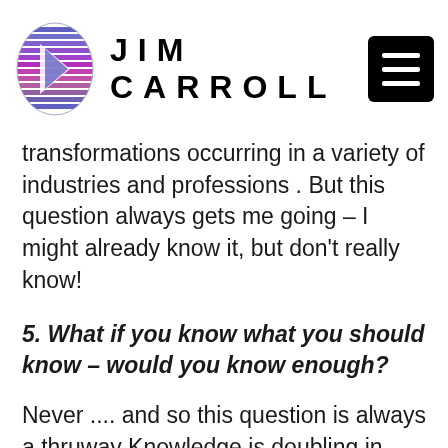JIM CARROLL
transformations occurring in a variety of industries and professions . But this question always gets me going – I might already know it, but don't really know!
5. What if you know what you should know – would you know enough?
Never .... and so this question is always a thruway Knowledge is doubling in every career and profession every few years; every